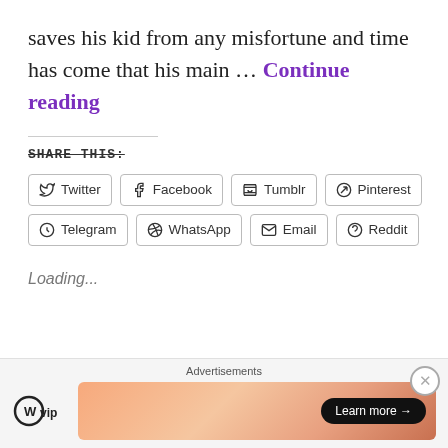saves his kid from any misfortune and time has come that his main … Continue reading
SHARE THIS:
Twitter Facebook Tumblr Pinterest Telegram WhatsApp Email Reddit
Loading...
Advertisements
[Figure (logo): WordPress VIP logo and advertisement banner with Learn more button]